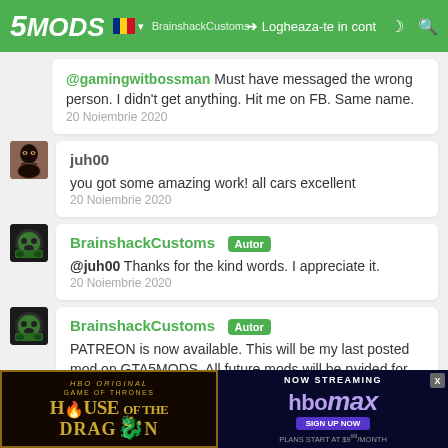5MODS | BrainshackCustoms | Logheaza-te in cont
@gamingwitbossman Must have messaged the wrong person. I didn't get anything. Hit me on FB. Same name.
20 Noiembrie 2020
juh00
you got some amazing work! all cars excellent
20 Noiembrie 2020
BrainshackCustoms Autor
@juh00 Thanks for the kind words. I appreciate it.
20 Noiembrie 2020
BrainshackCustoms Autor
PATREON is now available. This will be my last posted mod on GTA5MODS. All future mods will be provided for
[Figure (screenshot): HBO House of the Dragon and HBO Max streaming advertisement banner at bottom of page]